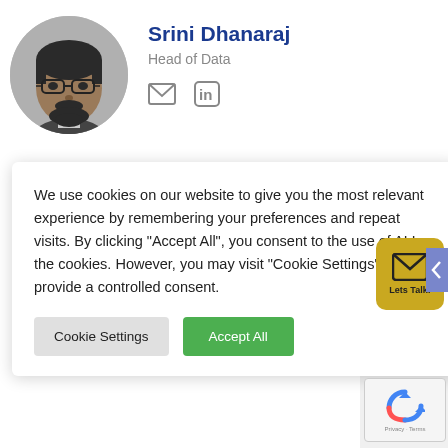[Figure (photo): Black and white headshot photo of Srini Dhanaraj, a man with glasses, mustache and beard, wearing a suit jacket]
Srini Dhanaraj
Head of Data
[Figure (illustration): Email icon (envelope) and LinkedIn icon]
We use cookies on our website to give you the most relevant experience by remembering your preferences and repeat visits. By clicking “Accept All”, you consent to the use of ALL the cookies. However, you may visit “Cookie Settings” to provide a controlled consent.
Cookie Settings
Accept All
Cloud
Lets Talk!
iew
Privacy · Terms